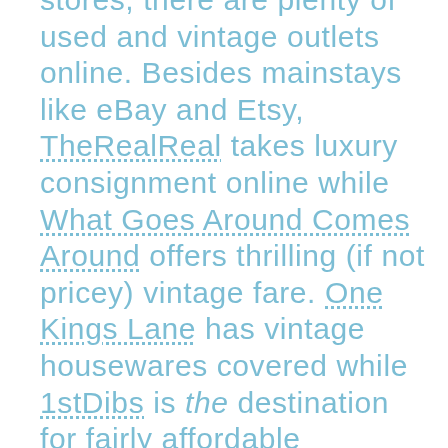stores, there are plenty of used and vintage outlets online. Besides mainstays like eBay and Etsy, TheRealReal takes luxury consignment online while What Goes Around Comes Around offers thrilling (if not pricey) vintage fare. One Kings Lane has vintage housewares covered while 1stDibs is the destination for fairly affordable antiquity. For the tech fiend, brands like Apple and Canon or such outlets as Amazon Renewed offer trustworthy refurbished electronics.